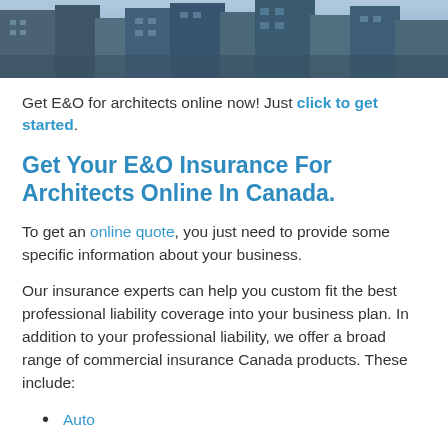[Figure (photo): Aerial/street-level photo of city buildings and skyscrapers]
Get E&O for architects online now! Just click to get started.
Get Your E&O Insurance For Architects Online In Canada.
To get an online quote, you just need to provide some specific information about your business.
Our insurance experts can help you custom fit the best professional liability coverage into your business plan. In addition to your professional liability, we offer a broad range of commercial insurance Canada products. These include:
Auto